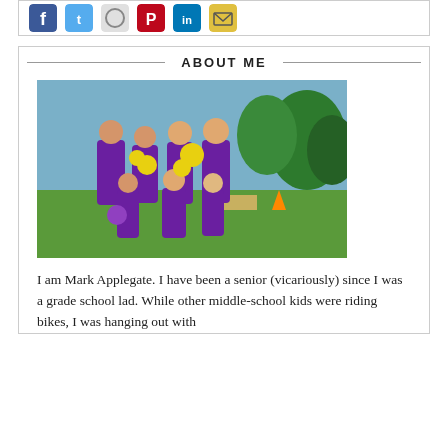[Figure (other): Social media share icons: Facebook (blue), Twitter (light blue), circular icon, Pinterest (red), LinkedIn (blue), email (yellow/green)]
ABOUT ME
[Figure (photo): Group photo of a family wearing purple t-shirts at an outdoor event (Relay for Life or similar), holding yellow flower decorations on green grass with trees in background]
I am Mark Applegate. I have been a senior (vicariously) since I was a grade school lad. While other middle-school kids were riding bikes, I was hanging out with